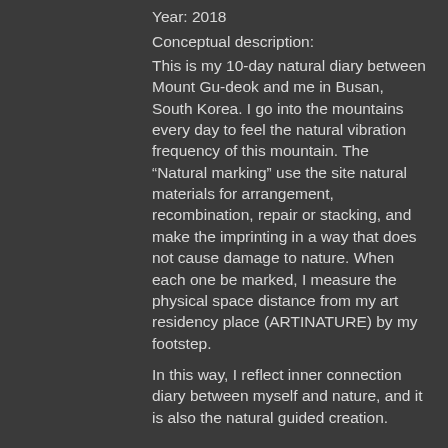Year: 2018
Conceptual description:
This is my 10-day natural diary between Mount Gu-deok and me in Busan, South Korea. I go into the mountains every day to feel the natural vibration frequency of this mountain. The “Natural marking” use the site natural materials for arrangement, recombination, repair or stacking, and make the imprinting in a way that does not cause damage to nature. When each one be marked, I measure the physical space distance from my art residency place (ARTINATURE) by my footstep.
In this way, I reflect inner connection diary between myself and nature, and it is also the natural guided creation.